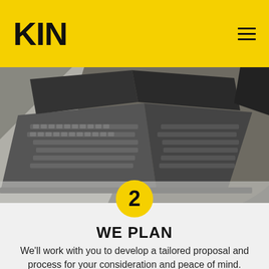KIN
[Figure (photo): Grayscale photo of a laptop computer open on a wooden desk, viewed from above at an angle, with keyboard visible]
2
WE PLAN
We'll work with you to develop a tailored proposal and process for your consideration and peace of mind.